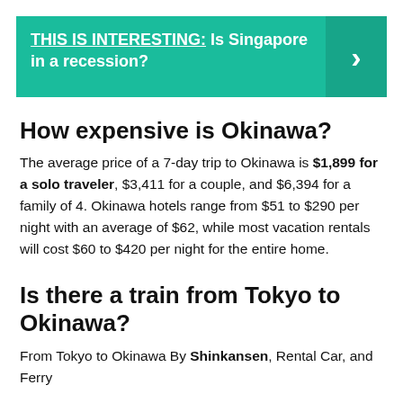[Figure (infographic): Teal banner with text 'THIS IS INTERESTING: Is Singapore in a recession?' and a right arrow chevron on a darker teal panel on the right.]
How expensive is Okinawa?
The average price of a 7-day trip to Okinawa is $1,899 for a solo traveler, $3,411 for a couple, and $6,394 for a family of 4. Okinawa hotels range from $51 to $290 per night with an average of $62, while most vacation rentals will cost $60 to $420 per night for the entire home.
Is there a train from Tokyo to Okinawa?
From Tokyo to Okinawa By Shinkansen, Rental Car, and Ferry
Although alternative methods take longer, the route is possible to make via Shinkansen (bullet train), rental car, and ferry. The southernmost Shinkansen station in Japan is Kagoshima Chuo Station in Kagoshima Prefecture.